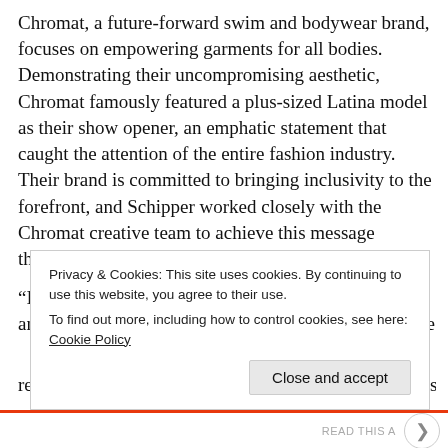Chromat, a future-forward swim and bodywear brand, focuses on empowering garments for all bodies. Demonstrating their uncompromising aesthetic, Chromat famously featured a plus-sized Latina model as their show opener, an emphatic statement that caught the attention of the entire fashion industry. Their brand is committed to bringing inclusivity to the forefront, and Schipper worked closely with the Chromat creative team to achieve this message through the vibe and energy of her shots.
“It was an honor to be a part of something meaningful and impactful, especially in the fashion industry where representation is so important,” the photographer states.
Privacy & Cookies: This site uses cookies. By continuing to use this website, you agree to their use. To find out more, including how to control cookies, see here: Cookie Policy
Close and accept